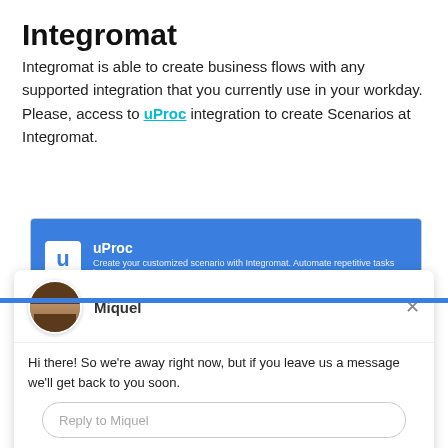Integromat
Integromat is able to create business flows with any supported integration that you currently use in your workday. Please, access to uProc integration to create Scenarios at Integromat.
[Figure (screenshot): Screenshot of uProc integration card on Integromat showing blue header with uProc logo and name, with text 'Create your customized scenario with Integromat. Automate repetitive tasks involved in']
[Figure (screenshot): Drift chat widget showing agent Miquel with avatar photo, message 'Hi there! So we're away right now, but if you leave us a message we'll get back to you soon.' and a reply input field. Footer shows 'Chat ⚡ by Drift']